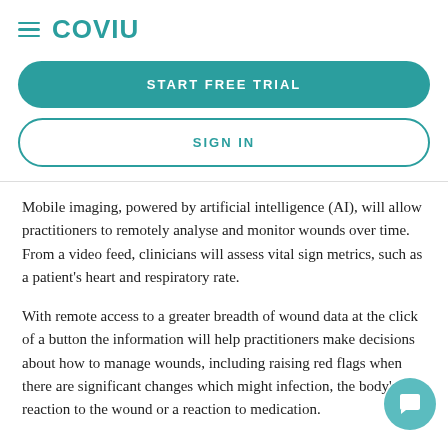[Figure (logo): Coviu logo with hamburger menu icon]
START FREE TRIAL
SIGN IN
Mobile imaging, powered by artificial intelligence (AI), will allow practitioners to remotely analyse and monitor wounds over time. From a video feed, clinicians will assess vital sign metrics, such as a patient's heart and respiratory rate.
With remote access to a greater breadth of wound data at the click of a button the information will help practitioners make decisions about how to manage wounds, including raising red flags when there are significant changes which might indicate infection, the body's reaction to the wound or a reaction to medication.